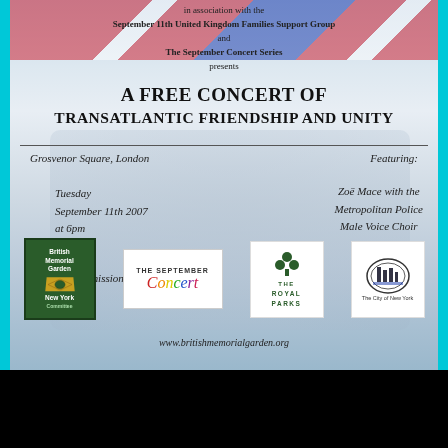in association with the
September 11th United Kingdom Families Support Group
and
The September Concert Series
presents
A FREE CONCERT OF
TRANSATLANTIC FRIENDSHIP AND UNITY
Grosvenor Square, London
Featuring:
Tuesday
September 11th 2007
at 6pm
Zoë Mace with the
Metropolitan Police
Male Voice Choir
and
Tanya Walker
Free Admission
[Figure (logo): British Memorial Garden New York logo]
[Figure (logo): The September Concert logo]
[Figure (logo): The Royal Parks logo]
[Figure (logo): NYC organization logo]
www.britishmemorialgarden.org